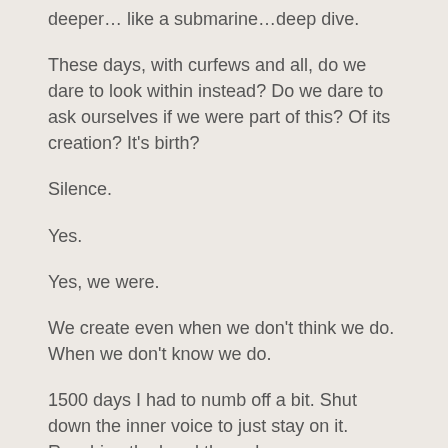deeper… like a submarine…deep dive.
These days, with curfews and all, do we dare to look within instead? Do we dare to ask ourselves if we were part of this? Of its creation? It's birth?
Silence.
Yes.
Yes, we were.
We create even when we don't think we do. When we don't know we do.
1500 days I had to numb off a bit. Shut down the inner voice to just stay on it. Reaching the breakthrough.